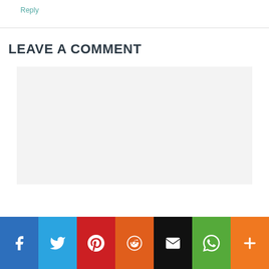Reply
LEAVE A COMMENT
[Figure (other): Comment text area input box with light gray background]
[Figure (infographic): Social sharing bar with Facebook, Twitter, Pinterest, Reddit, Email, WhatsApp, and More buttons]